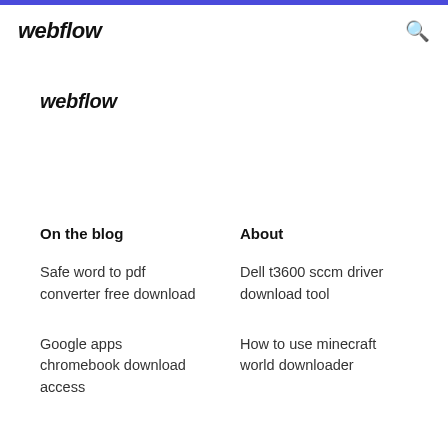webflow
webflow
On the blog
About
Safe word to pdf converter free download
Dell t3600 sccm driver download tool
Google apps chromebook download access
How to use minecraft world downloader